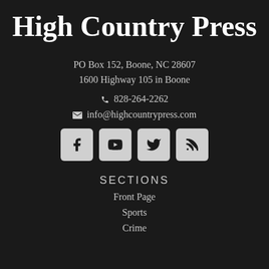High Country Press
PO Box 152, Boone, NC 28607
1600 Highway 105 in Boone
📞 828-264-2262
✉ info@highcountrypress.com
[Figure (infographic): Four social media icon buttons: Facebook, YouTube, Twitter, RSS feed]
SECTIONS
Front Page
Sports
Crime